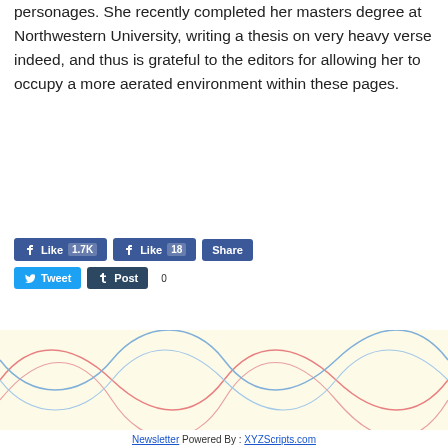personages. She recently completed her masters degree at Northwestern University, writing a thesis on very heavy verse indeed, and thus is grateful to the editors for allowing her to occupy a more aerated environment within these pages.
[Figure (screenshot): Social media sharing buttons: Facebook Like (1.7K), Facebook Like (18), Share, Twitter Tweet, Tumblr Post (0)]
[Figure (illustration): Decorative wavy sine-curve lines in red/pink and blue/teal colors on a light yellow/cream background]
Newsletter Powered By : XYZScripts.com